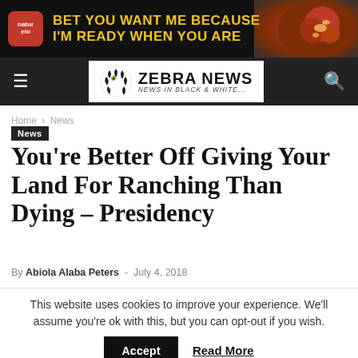[Figure (illustration): Advertisement banner: dark background with Naturelo brand logo (red rounded square), yellow bold text 'BET YOU WANT ME BECAUSE I'M READY WHEN YOU ARE', and food photo on right side]
[Figure (logo): Zebra News navigation bar with hamburger menu icon, Zebra News logo (zebra head SVG beside 'ZEBRA NEWS / NEWS IN BLACK & WHITE...'), and search icon on black background]
Home › News
News
You're Better Off Giving Your Land For Ranching Than Dying – Presidency
By Abiola Alaba Peters - July 4, 2018
This website uses cookies to improve your experience. We'll assume you're ok with this, but you can opt-out if you wish. Accept Read More